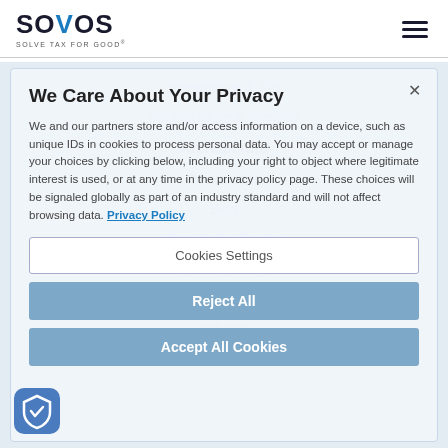SOVOS — SOLVE TAX FOR GOOD®
Integrations & API
Infrastructure & Security
Architecture
Resources
Blog
Knowledge Center
Regulatory Analysis
Events
Webinars
Support / Client Portal
We Care About Your Privacy
We and our partners store and/or access information on a device, such as unique IDs in cookies to process personal data. You may accept or manage your choices by clicking below, including your right to object where legitimate interest is used, or at any time in the privacy policy page. These choices will be signaled globally as part of an industry standard and will not affect browsing data. Privacy Policy
Cookies Settings
Reject All
Accept All Cookies